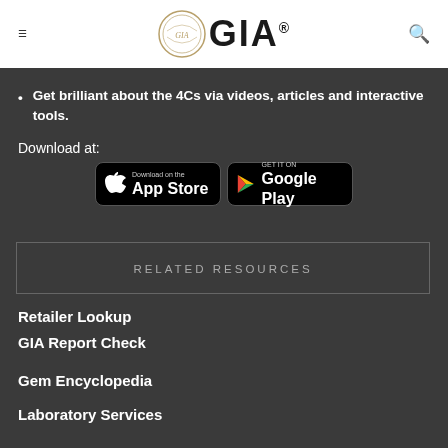GIA
Get brilliant about the 4Cs via videos, articles and interactive tools.
Download at:
[Figure (screenshot): App Store and Google Play download buttons for the GIA app]
RELATED RESOURCES
Retailer Lookup
GIA Report Check
Gem Encyclopedia
Laboratory Services